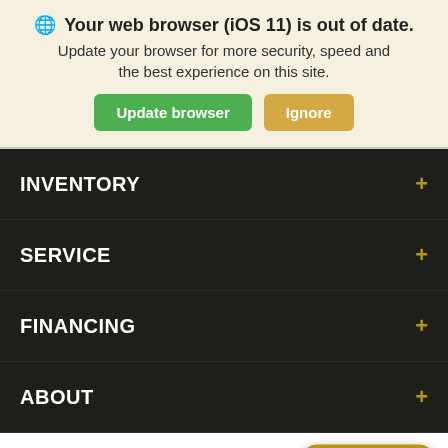🌐 Your web browser (iOS 11) is out of date. Update your browser for more security, speed and the best experience on this site. Update browser | Ignore
INVENTORY +
SERVICE +
FINANCING +
ABOUT +
Copyright © 2022 - Shepherd's Chevrolet Inc
Search | Contact | Chat With Us!